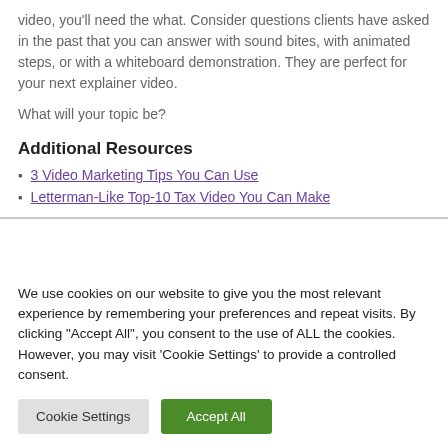video, you'll need the what. Consider questions clients have asked in the past that you can answer with sound bites, with animated steps, or with a whiteboard demonstration. They are perfect for your next explainer video.
What will your topic be?
Additional Resources
3 Video Marketing Tips You Can Use
Letterman-Like Top-10 Tax Video You Can Make
We use cookies on our website to give you the most relevant experience by remembering your preferences and repeat visits. By clicking "Accept All", you consent to the use of ALL the cookies. However, you may visit 'Cookie Settings' to provide a controlled consent.